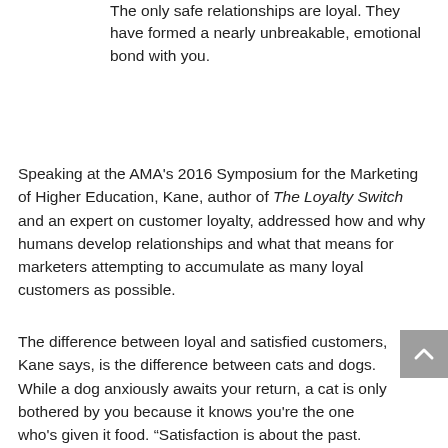The only safe relationships are loyal. They have formed a nearly unbreakable, emotional bond with you.
Speaking at the AMA's 2016 Symposium for the Marketing of Higher Education, Kane, author of The Loyalty Switch and an expert on customer loyalty, addressed how and why humans develop relationships and what that means for marketers attempting to accumulate as many loyal customers as possible.
The difference between loyal and satisfied customers, Kane says, is the difference between cats and dogs. While a dog anxiously awaits your return, a cat is only bothered by you because it knows you're the one who's given it food. “Satisfaction is about the past. Loyalty is about the future,” says Kane. “That doesn’t mean you don’t have to satisfy your customers. It just means that those who are satisfied